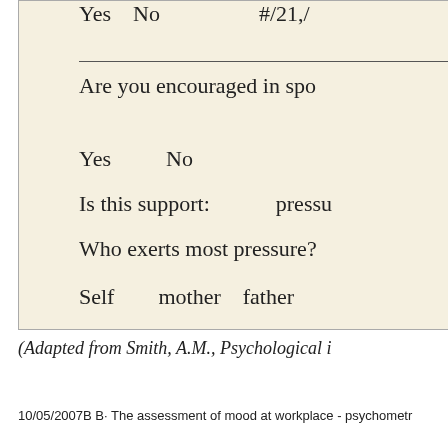Are you encouraged in spo
Yes    No
Is this support:    pressu
Who exerts most pressure?
Self    mother    father
(Adapted from Smith, A.M., Psychological i
10/05/2007B B· The assessment of mood at workplace - psychometr